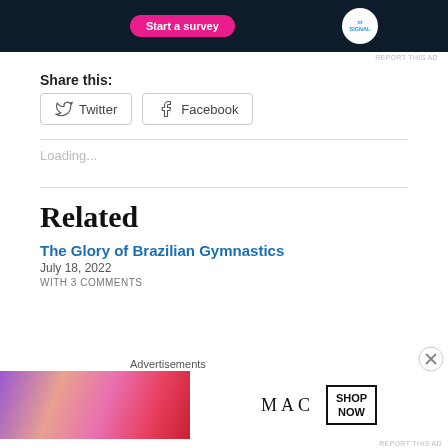[Figure (screenshot): Advertisement banner with dark navy background showing a pink 'Start a survey' button and a circular Signal logo on the right]
REPORT THIS AD
Share this:
Twitter
Facebook
Loading...
Related
The Glory of Brazilian Gymnastics
July 18, 2022
WITH 3 COMMENTS
Advertisements
[Figure (screenshot): MAC cosmetics advertisement showing lipsticks in purple, pink, and red colors with MAC logo and SHOP NOW box]